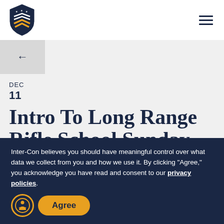[Figure (logo): Inter-Con shield logo with chevrons and stars in navy and gold]
Navigation header with logo and hamburger menu
← back navigation button
DEC
11
Intro To Long Range Rifle School Sunday Dec
Inter-Con believes you should have meaningful control over what data we collect from you and how we use it. By clicking "Agree," you acknowledge you have read and consent to our privacy policies.
Agree